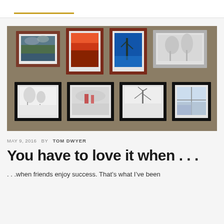[Figure (photo): Eight framed photographs displayed on a tan/brown wall. Top row has four frames with brown/wood frames showing color landscape photos (stormy sky landscape, red sunset, blue winter tree, misty trees). Bottom row has four black-framed photographs showing black-and-white winter/nature scenes (snowy field, misty figures, icy tree, view through window).]
MAY 9, 2016  BY  TOM DWYER
You have to love it when . . .
. . .when friends enjoy success. That's what I've been